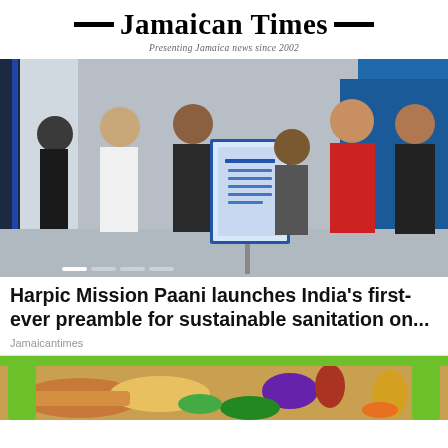Jamaican Times
Presenting Jamaica news since 2002
[Figure (photo): Group of people standing at an indoor ceremony event; a framed certificate or award is displayed on a stand in the center; people wearing formal attire including kurtas and suits; blue door visible on the right; banner visible on the left]
Harpic Mission Paani launches India's first-ever preamble for sustainable sanitation on...
Jamaicantimes
[Figure (photo): Assorted food items including bread slices, vegetables, and fruits spread on a surface, with green bar at top]